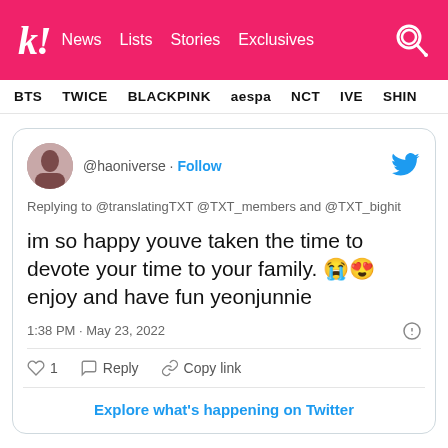k! News Lists Stories Exclusives
BTS TWICE BLACKPINK aespa NCT IVE SHIN
[Figure (screenshot): Tweet from @haoniverse replying to @translatingTXT @TXT_members and @TXT_bighit: 'im so happy youve taken the time to devote your time to your family. 😭😍 enjoy and have fun yeonjunnie' posted at 1:38 PM · May 23, 2022. Likes: 1. Actions: Reply, Copy link. Button: Explore what's happening on Twitter.]